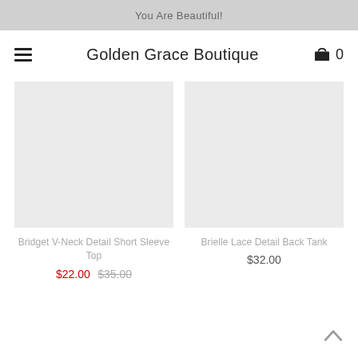You Are Beautiful!
Golden Grace Boutique
[Figure (photo): Product image placeholder for Bridget V-Neck Detail Short Sleeve Top – light gray rectangle]
Bridget V-Neck Detail Short Sleeve Top
$22.00  $35.00
[Figure (photo): Product image placeholder for Brielle Lace Detail Back Tank – light gray rectangle]
Brielle Lace Detail Back Tank
$32.00